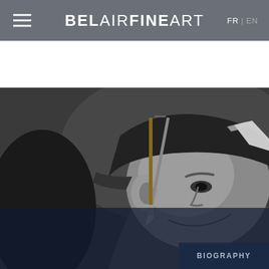BELAIRFINEART | FR | EN
Aiiroh
[Figure (photo): Black and white close-up photograph of a person holding a paintbrush near their face, wearing a cap with a reflective stripe]
By continuing your navigation or by closing this banner, you accept the deposit of third-party cookies necessary for the proper functioning of our site.
OK
BIOGRAPHY